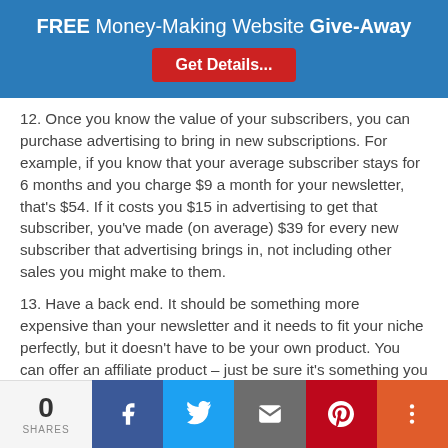FREE Money-Making Website Give-Away — Get Details...
12. Once you know the value of your subscribers, you can purchase advertising to bring in new subscriptions. For example, if you know that your average subscriber stays for 6 months and you charge $9 a month for your newsletter, that's $54. If it costs you $15 in advertising to get that subscriber, you've made (on average) $39 for every new subscriber that advertising brings in, not including other sales you might make to them.
13. Have a back end. It should be something more expensive than your newsletter and it needs to fit your niche perfectly, but it doesn't have to be your own product. You can offer an affiliate product – just be sure it's something you really, truly believe in yourself.
0 SHARES — Facebook, Twitter, Email, Pinterest, More